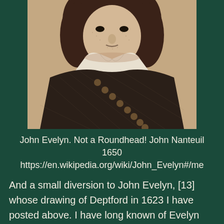[Figure (photo): Historical engraved portrait of John Evelyn, showing a man with long curly dark hair, white collar, and dark clothing with decorative buttons, by John Nanteuil 1650. Sepia/brown tones, cropped to show head and upper torso against a dark green background.]
John Evelyn. Not a Roundhead! John Nanteuil 1650 https://en.wikipedia.org/wiki/John_Evelyn#/me
And a small diversion to John Evelyn, [13] whose drawing of Deptford in 1623 I have posted above. I have long known of Evelyn